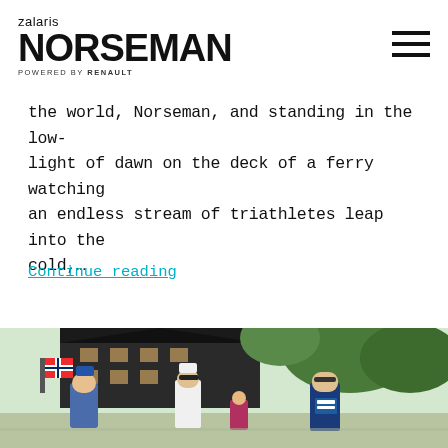zalaris NORSEMAN POWERED BY RENAULT
the world, Norseman, and standing in the low-light of dawn on the deck of a ferry watching an endless stream of triathletes leap into the cold,…
Continue reading
[Figure (photo): Athletes running at the Norseman triathlon event, one holding a Norwegian flag, near traditional dark wooden buildings with green trees in the background.]